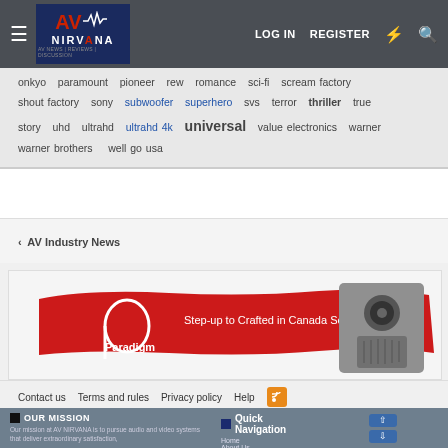AV NIRVANA — LOG IN  REGISTER
onkyo  paramount  pioneer  rew  romance  sci-fi  scream factory  shout factory  sony  subwoofer  superhero  svs  terror  thriller  true story  uhd  ultrahd  ultrahd 4k  universal  value electronics  warner  warner brothers  well go usa
< AV Industry News
[Figure (illustration): Paradigm speaker advertisement: red brushstroke background with Paradigm logo and text 'Step-up to Crafted in Canada Sound.' alongside a silver bookshelf speaker]
Contact us  Terms and rules  Privacy policy  Help
OUR MISSION
Our mission at AV NIRVANA is to pursue audio and video systems that deliver extraordinary satisfaction,
Quick Navigation
Home  About Us